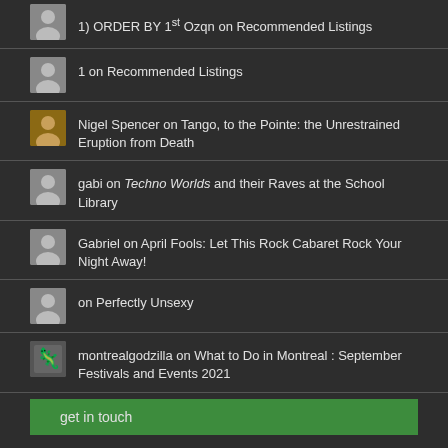1) ORDER BY 1st Ozqn on Recommended Listings
1 on Recommended Listings
Nigel Spencer on Tango, to the Pointe: the Unrestrained Eruption from Death
gabi on Techno Worlds and their Raves at the School Library
Gabriel on April Fools: Let This Rock Cabaret Rock Your Night Away!
on Perfectly Unsexy
montrealgodzilla on What to Do in Montreal : September Festivals and Events 2021
get in touch
email: montrealrampage@gmail.com
Support
Support Montreal Rampage with Patreon, click HERE